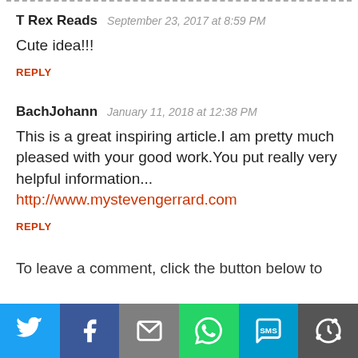T Rex Reads — September 23, 2017 at 8:59 PM — Cute idea!!!
REPLY
BachJohann — January 11, 2018 at 12:38 PM — This is a great inspiring article.I am pretty much pleased with your good work.You put really very helpful information... http://www.mystevengerrard.com
REPLY
To leave a comment, click the button below to sign in with Google.